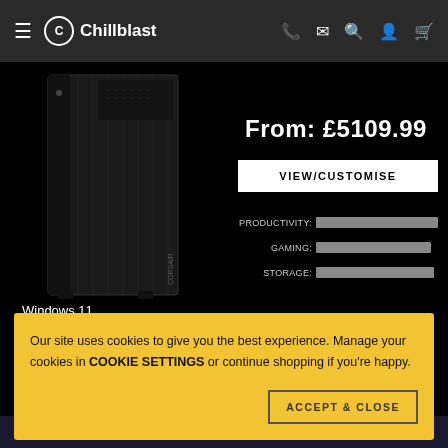Chillblast
[Figure (photo): Dark PC tower / desktop computer case shown from the front-left angle on a black background]
From: £5109.99
VIEW/CUSTOMISE
[Figure (infographic): Three horizontal rating bars for PRODUCTIVITY, GAMING, and STORAGE, all nearly full, on a dark background]
Windows 11
Up to 64 Cores Ryzen Threadripper Pro Series
GeForce or Radeon
Up to 256GB DDR4
M.2s, SSDs and HDDs
BEST FOR: Megatasking, Video and content creation
Our site uses cookies to give you the best experience. Manage your cookies in COOKIE SETTINGS or continue shopping if you're happy.
ACCEPT & CLOSE
CONTACT US